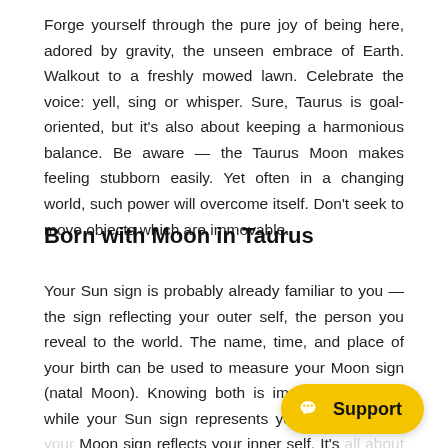Forge yourself through the pure joy of being here, adored by gravity, the unseen embrace of Earth. Walkout to a freshly mowed lawn. Celebrate the voice: yell, sing or whisper. Sure, Taurus is goal-oriented, but it's also about keeping a harmonious balance. Be aware — the Taurus Moon makes feeling stubborn easily. Yet often in a changing world, such power will overcome itself. Don't seek to move objects which are immovable.
Born with Moon in Taurus
Your Sun sign is probably already familiar to you — the sign reflecting your outer self, the person you reveal to the world. The name, time, and place of your birth can be used to measure your Moon sign (natal Moon). Knowing both is important because while your Sun sign represents your external self, your Moon sign reflects your inner self. It's all about thoughts,